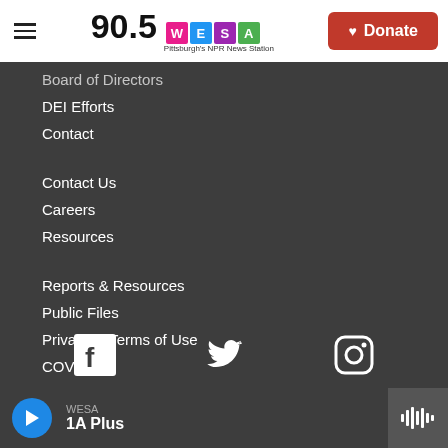90.5 WESA Pittsburgh's NPR News Station | Donate
Board of Directors
DEI Efforts
Contact
Contact Us
Careers
Resources
Reports & Resources
Public Files
Privacy & Terms of Use
COVID-19
FCC Applications
[Figure (illustration): Social media icons: Facebook, Twitter, Instagram]
WESA | 1A Plus | Play button | Waveform